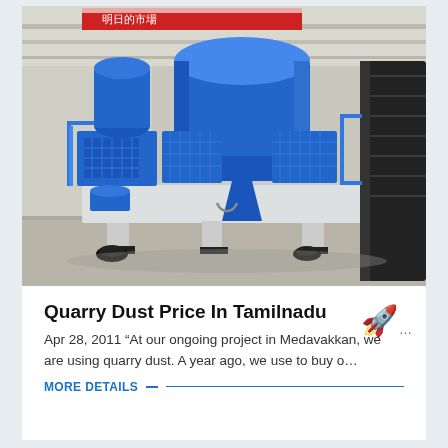[Figure (photo): Industrial blue VSI crusher/sand making machine on a white steel base frame inside a factory/warehouse. The large blue cylindrical machine sits on a raised platform with mesh side guards and blue railings. A dark machine is partially visible at the right. Chinese signage is partially visible in the background.]
Quarry Dust Price In Tamilnadu
Apr 28, 2011 “At our ongoing project in Medavakkan we are using quarry dust. A year ago, we use to buy o…
MORE DETAILS